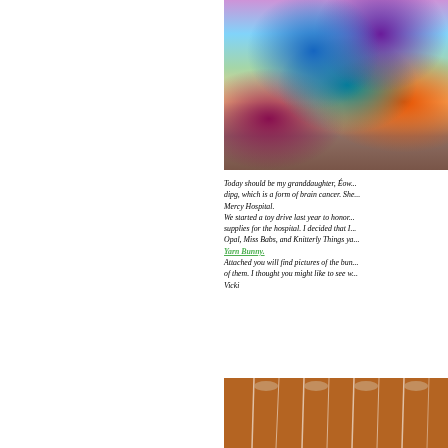[Figure (photo): Colorful crocheted yarn bags/bunnies with multicolored yarn in purple, blue, teal, orange, and pink tones arranged on a wooden surface]
Today should be my granddaughter, Éow... dipg, which is a form of brain cancer. She... Mercy Hospital. We started a toy drive last year to honor... supplies for the hospital. I decided that I... Opal, Miss Babs, and Knitterly Things ya... Yarn Bunny. Attached you will find pictures of the bun... of them. I thought you might like to see w... Vicki
[Figure (photo): Clear plastic bags packaged on a wooden surface, appearing to contain crocheted items]